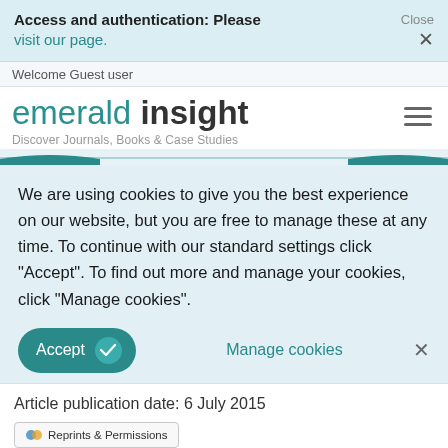Access and authentication: Please visit our page.   Close ×
Welcome Guest user
emerald insight — Discover Journals, Books & Case Studies
We are using cookies to give you the best experience on our website, but you are free to manage these at any time. To continue with our standard settings click "Accept". To find out more and manage your cookies, click "Manage cookies".
Accept   Manage cookies   ×
Article publication date: 6 July 2015
Reprints & Permissions